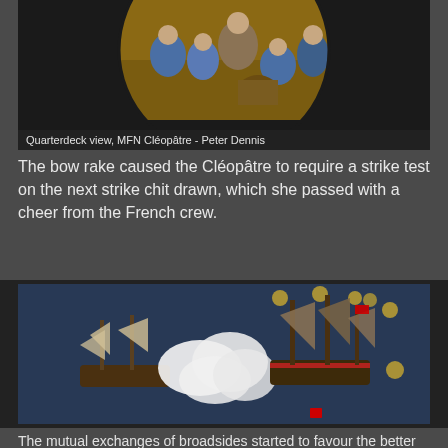[Figure (photo): Painting of quarterdeck scene with sailors, MFN Cléopâtre by Peter Dennis]
Quarterdeck view, MFN Cléopâtre - Peter Dennis
The bow rake caused the Cléopâtre to require a strike test on the next strike chit drawn, which she passed with a cheer from the French crew.
[Figure (photo): Tabletop miniature wargame photo showing two sailing ship models with smoke clouds between them on a dark blue sea mat, with coins placed around]
The mutual exchanges of broadsides started to favour the better British